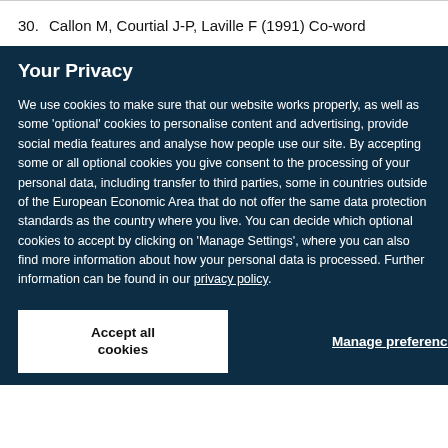30. Callon M, Courtial J-P, Laville F (1991) Co-word
Your Privacy
We use cookies to make sure that our website works properly, as well as some ‘optional’ cookies to personalise content and advertising, provide social media features and analyse how people use our site. By accepting some or all optional cookies you give consent to the processing of your personal data, including transfer to third parties, some in countries outside of the European Economic Area that do not offer the same data protection standards as the country where you live. You can decide which optional cookies to accept by clicking on ‘Manage Settings’, where you can also find more information about how your personal data is processed. Further information can be found in our privacy policy.
Accept all cookies
Manage preferences